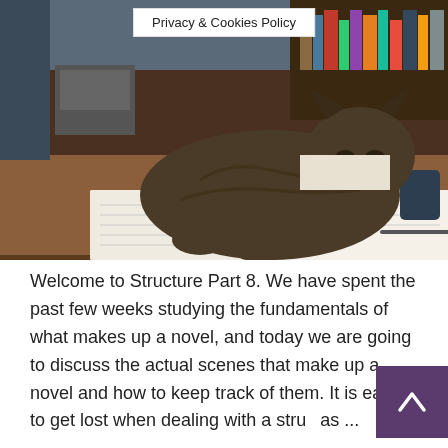[Figure (photo): A tabby cat crouching on an open book on a wooden desk, with bookshelves and office items visible in the background.]
Privacy & Cookies Policy
Welcome to Structure Part 8. We have spent the past few weeks studying the fundamentals of what makes up a novel, and today we are going to discuss the actual scenes that make up a novel and how to keep track of them. It is easy to get lost when dealing with a struc as ...